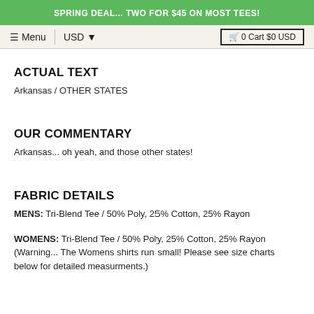SPRING DEAL... TWO FOR $45 ON MOST TEES!
≡ Menu | USD ▾  🛒 0 Cart $0 USD
ACTUAL TEXT
Arkansas / OTHER STATES
OUR COMMENTARY
Arkansas... oh yeah, and those other states!
FABRIC DETAILS
MENS: Tri-Blend Tee / 50% Poly, 25% Cotton, 25% Rayon
WOMENS: Tri-Blend Tee / 50% Poly, 25% Cotton, 25% Rayon (Warning... The Womens shirts run small! Please see size charts below for detailed measurments.)